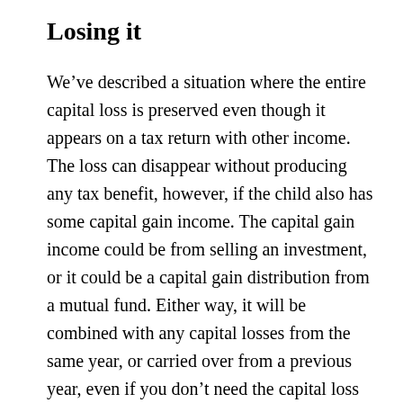Losing it
We’ve described a situation where the entire capital loss is preserved even though it appears on a tax return with other income. The loss can disappear without producing any tax benefit, however, if the child also has some capital gain income. The capital gain income could be from selling an investment, or it could be a capital gain distribution from a mutual fund. Either way, it will be combined with any capital losses from the same year, or carried over from a previous year, even if you don’t need the capital loss to eliminate tax on the capital gain.
Example: Suppose your child has a $2,000